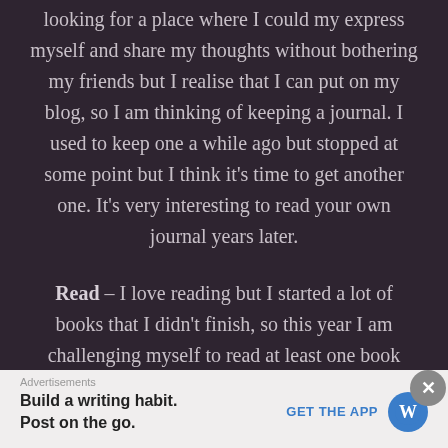looking for a place where I could my express myself and share my thoughts without bothering my friends but I realise that I can put on my blog, so I am thinking of keeping a journal. I used to keep one a while ago but stopped at some point but I think it's time to get another one. It's very interesting to read your own journal years later.
Read – I love reading but I started a lot of books that I didn't finish, so this year I am challenging myself to read at least one book every month.
Listen to podcasts – I have listened to one or two
Advertisements
Build a writing habit. Post on the go.
GET THE APP